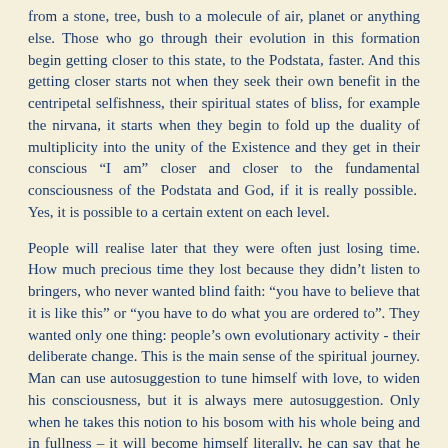from a stone, tree, bush to a molecule of air, planet or anything else. Those who go through their evolution in this formation begin getting closer to this state, to the Podstata, faster. And this getting closer starts not when they seek their own benefit in the centripetal selfishness, their spiritual states of bliss, for example the nirvana, it starts when they begin to fold up the duality of multiplicity into the unity of the Existence and they get in their conscious “I am” closer and closer to the fundamental consciousness of the Podstata and God, if it is really possible. Yes, it is possible to a certain extent on each level.
People will realise later that they were often just losing time. How much precious time they lost because they didn’t listen to bringers, who never wanted blind faith: “you have to believe that it is like this” or “you have to do what you are ordered to”. They wanted only one thing: people’s own evolutionary activity - their deliberate change. This is the main sense of the spiritual journey. Man can use autosuggestion to tune himself with love, to widen his consciousness, but it is always mere autosuggestion. Only when he takes this notion to his bosom with his whole being and in fullness – it will become himself literally, he can say that he has mastered the given problem. The spiritual journey contains several levels. The first basic levels are general orientation, then, deeper and deeper pondering over problems and finally meditation, which as the anti-pole - thinking with emotions -